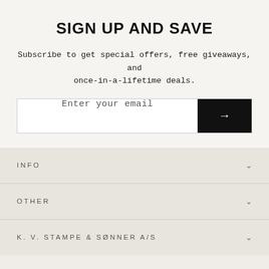SIGN UP AND SAVE
Subscribe to get special offers, free giveaways, and once-in-a-lifetime deals.
[Figure (other): Email subscription input field with black arrow submit button]
INFO
OTHER
K. V. STAMPE & SØNNER A/S